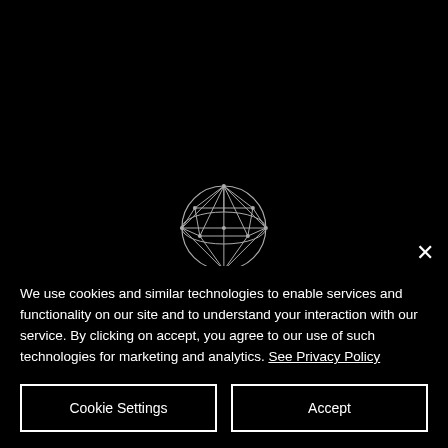[Figure (logo): Geometric globe/diamond wireframe network logo above the word NETWORKING]
We use cookies and similar technologies to enable services and functionality on our site and to understand your interaction with our service. By clicking on accept, you agree to our use of such technologies for marketing and analytics. See Privacy Policy
Cookie Settings
Accept